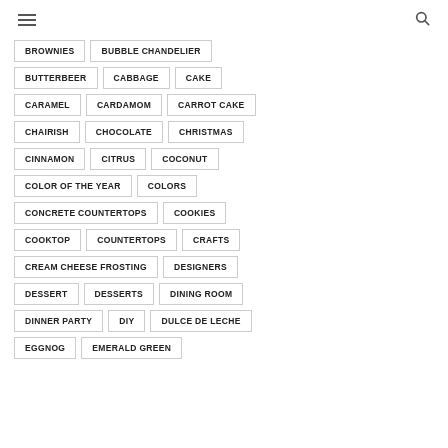≡ 🔍
BROWNIES
BUBBLE CHANDELIER
BUTTERBEER
CABBAGE
CAKE
CARAMEL
CARDAMOM
CARROT CAKE
CHAIRISH
CHOCOLATE
CHRISTMAS
CINNAMON
CITRUS
COCONUT
COLOR OF THE YEAR
COLORS
CONCRETE COUNTERTOPS
COOKIES
COOKTOP
COUNTERTOPS
CRAFTS
CREAM CHEESE FROSTING
DESIGNERS
DESSERT
DESSERTS
DINING ROOM
DINNER PARTY
DIY
DULCE DE LECHE
EGGNOG
EMERALD GREEN